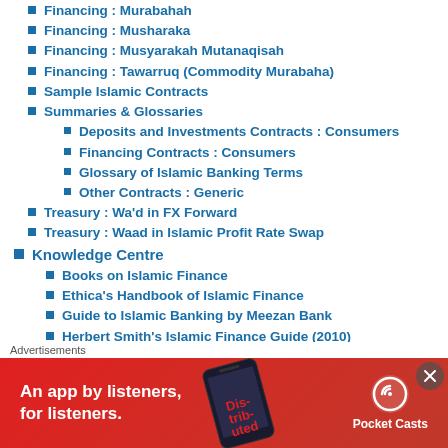Financing : Murabahah
Financing : Musharaka
Financing : Musyarakah Mutanaqisah
Financing : Tawarruq (Commodity Murabaha)
Sample Islamic Contracts
Summaries & Glossaries
Deposits and Investments Contracts : Consumers
Financing Contracts : Consumers
Glossary of Islamic Banking Terms
Other Contracts : Generic
Treasury : Wa'd in FX Forward
Treasury : Waad in Islamic Profit Rate Swap
Knowledge Centre
Books on Islamic Finance
Ethica's Handbook of Islamic Finance
Guide to Islamic Banking by Meezan Bank
Herbert Smith's Islamic Finance Guide (2010)
Advertisements
[Figure (other): Red advertisement banner for Pocket Casts podcast app reading 'An app by listeners, for listeners.' with phone graphic and Pocket Casts logo]